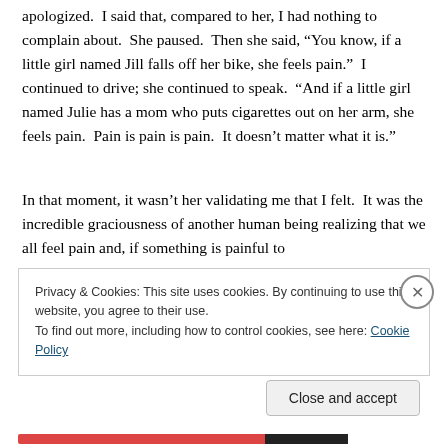apologized.  I said that, compared to her, I had nothing to complain about.  She paused.  Then she said, “You know, if a little girl named Jill falls off her bike, she feels pain.”  I continued to drive; she continued to speak.  “And if a little girl named Julie has a mom who puts cigarettes out on her arm, she feels pain.  Pain is pain is pain.  It doesn’t matter what it is.”
In that moment, it wasn’t her validating me that I felt.  It was the incredible graciousness of another human being realizing that we all feel pain and, if something is painful to
Privacy & Cookies: This site uses cookies. By continuing to use this website, you agree to their use.
To find out more, including how to control cookies, see here: Cookie Policy